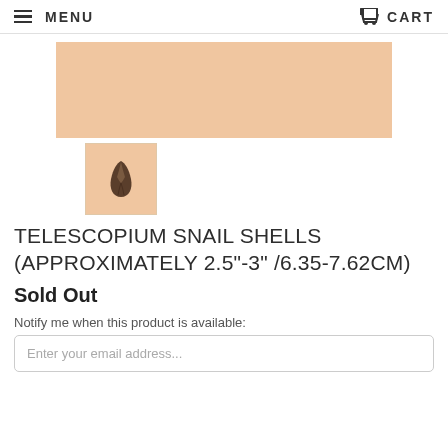MENU  CART
[Figure (photo): Large peach/tan rectangular product image of telescopium snail shells]
[Figure (photo): Small thumbnail image showing a single dark conical telescopium snail shell on peach/tan background]
TELESCOPIUM SNAIL SHELLS (APPROXIMATELY 2.5"-3" /6.35-7.62CM)
Sold Out
Notify me when this product is available:
Enter your email address...